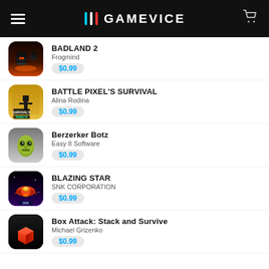GAMEVICE
BADLAND 2 | Frogmind | $0.99
BATTLE PIXEL'S SURVIVAL | Alina Rodina | $0.99
Berzerker Botz | Easy 8 Software | $0.99
BLAZING STAR | SNK CORPORATION | $0.99
Box Attack: Stack and Survive | Michael Grizenko | $0.99